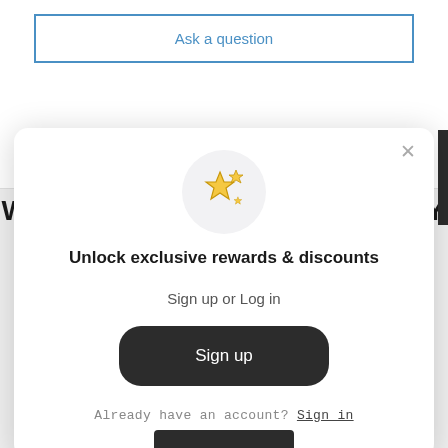Ask a question
WHAT OUR CUSTOMERS SAY
[Figure (screenshot): Modal popup with sparkle stars icon in a light gray circle, prompting the user to unlock exclusive rewards and discounts by signing up or logging in. Contains a dark 'Sign up' button and a 'Sign in' text link. A close (×) button is in the top-right corner.]
Unlock exclusive rewards & discounts
Sign up or Log in
Sign up
Already have an account? Sign in